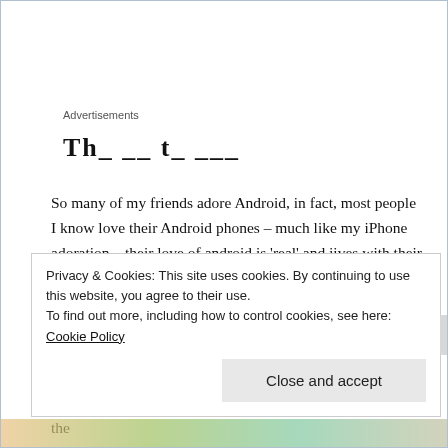Advertisements
Th_ __ t_ ___
So many of my friends adore Android, in fact, most people I know love their Android phones – much like my iPhone adoration – their love of android is 'real' and jives with their personal philosophies. It is as though they were destined to love android, just as my makeup drew me naturally to the iPhone.
In order to fairly review the gooPhone, I need to separate the
Privacy & Cookies: This site uses cookies. By continuing to use this website, you agree to their use.
To find out more, including how to control cookies, see here: Cookie Policy
Close and accept